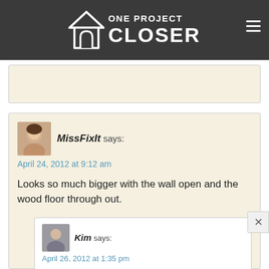ONE PROJECT CLOSER
MissFixIt says:
April 24, 2012 at 9:12 am

Looks so much bigger with the wall open and the wood floor through out.
Kim says:
April 26, 2012 at 1:35 pm

Sure does! And we especially appreciate that